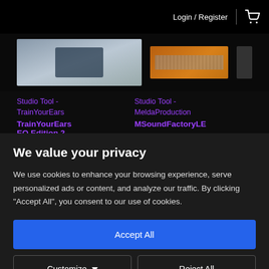Login / Register
[Figure (screenshot): Product images strip showing two audio plugin products]
Studio Tool - TrainYourEars
TrainYourEars EQ Edition 2
Studio Tool - MeldaProduction
MSoundFactoryLE
We value your privacy
We use cookies to enhance your browsing experience, serve personalized ads or content, and analyze our traffic. By clicking "Accept All", you consent to our use of cookies.
Accept All
Customize
Reject All